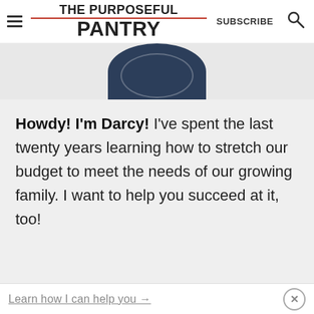THE PURPOSEFUL PANTRY — SUBSCRIBE
[Figure (photo): Partial view of a dark navy/blue circular plate or bowl seen from above, cropped at the top of the card section]
Howdy! I'm Darcy! I've spent the last twenty years learning how to stretch our budget to meet the needs of our growing family. I want to help you succeed at it, too!
Learn how I can help you →